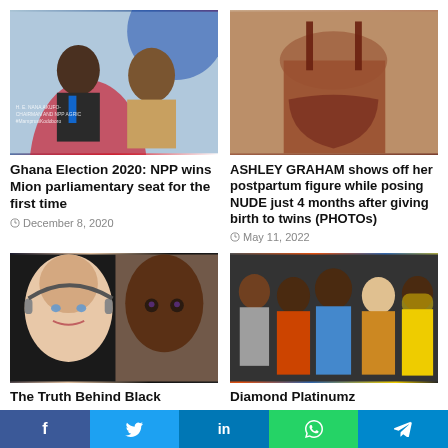[Figure (photo): Two men smiling, one in a suit with a blue tie, one in traditional attire, with a red/blue graphic background]
Ghana Election 2020: NPP wins Mion parliamentary seat for the first time
December 8, 2020
[Figure (photo): Woman in brown bikini showing her back/posterior]
ASHLEY GRAHAM shows off her postpartum figure while posing NUDE just 4 months after giving birth to twins (PHOTOs)
May 11, 2022
[Figure (photo): Two women's faces side by side, one with blue eyes and light skin, one with dark skin and dramatic makeup]
The Truth Behind Black
[Figure (photo): Group of five men posing together, colorful outfits]
Diamond Platinumz
f  t  in  (whatsapp icon)  (telegram icon)